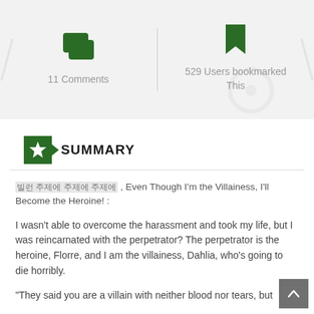[Figure (infographic): Two stat boxes side by side: left shows a chat/comment icon with '11 Comments', right shows a bookmark icon with '529 Users bookmarked This', separated by a vertical divider line.]
SUMMARY
빌런 주제에 주제에 주제에 , Even Though I'm the Villainess, I'll Become the Heroine! :
I wasn't able to overcome the harassment and took my life, but I was reincarnated with the perpetrator? The perpetrator is the heroine, Florre, and I am the villainess, Dahlia, who's going to die horribly.
"They said you are a villain with neither blood nor tears, but